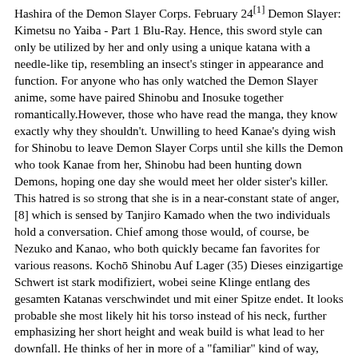Hashira of the Demon Slayer Corps. February 24[1] Demon Slayer: Kimetsu no Yaiba - Part 1 Blu-Ray. Hence, this sword style can only be utilized by her and only using a unique katana with a needle-like tip, resembling an insect's stinger in appearance and function. For anyone who has only watched the Demon Slayer anime, some have paired Shinobu and Inosuke together romantically.However, those who have read the manga, they know exactly why they shouldn't. Unwilling to heed Kanae's dying wish for Shinobu to leave Demon Slayer Corps until she kills the Demon who took Kanae from her, Shinobu had been hunting down Demons, hoping one day she would meet her older sister's killer. This hatred is so strong that she is in a near-constant state of anger, [8] which is sensed by Tanjiro Kamado when the two individuals hold a conversation. Chief among those would, of course, be Nezuko and Kanao, who both quickly became fan favorites for various reasons. Kochō Shinobu Auf Lager (35) Dieses einzigartige Schwert ist stark modifiziert, wobei seine Klinge entlang des gesamten Katanas verschwindet und mit einer Spitze endet. It looks probable she most likely hit his torso instead of his neck, further emphasizing her short height and weak build is what lead to her downfall. He thinks of her in more of a "familiar" kind of way, such as a mother. She seems to enjoy teasing others and can be rather sadistic about it, enjoying most notably to pick on Giyu Tomioka. Anime Shinobu is rather short in height and has been described as having a small and weak-looking build, which is